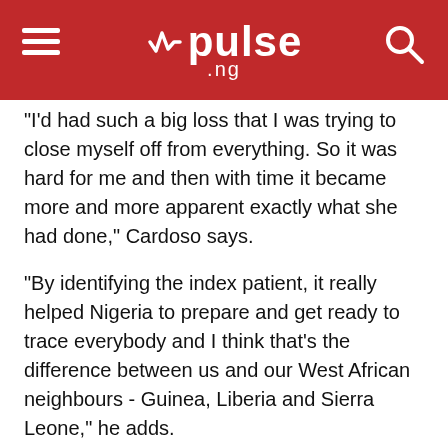pulse.ng
"I'd had such a big loss that I was trying to close myself off from everything. So it was hard for me and then with time it became more and more apparent exactly what she had done," Cardoso says.
"By identifying the index patient, it really helped Nigeria to prepare and get ready to trace everybody and I think that's the difference between us and our West African neighbours - Guinea, Liberia and Sierra Leone," he adds.
Cardoso was overwhelmed by the praise his Mum received from the local press after she passed on.
"I wonder how one individual has so much connection with so many people. So, it's like we shared her with everybody; which is special."